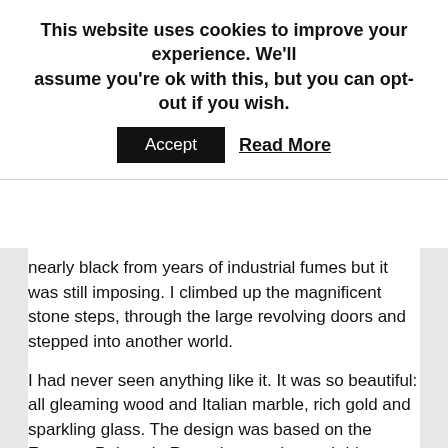This website uses cookies to improve your experience. We'll assume you're ok with this, but you can opt-out if you wish.
Accept   Read More
nearly black from years of industrial fumes but it was still imposing. I climbed up the magnificent stone steps, through the large revolving doors and stepped into another world.
I had never seen anything like it. It was so beautiful: all gleaming wood and Italian marble, rich gold and sparkling glass. The design was based on the Farnese Palace in Rome but much, much bigger than the homely palace of Pope Paul III. There was a narrow lift, circa 1930's, with a black exterior folding iron gate and a black interior folding gate both of which had to be closed before it would move plus plenty of brass on the rails, the calling plate and the single button outside to